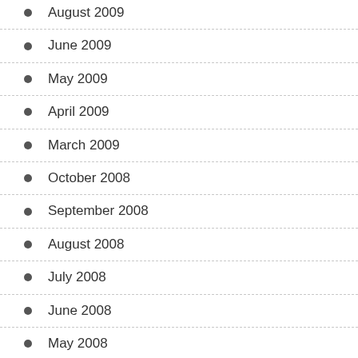August 2009
June 2009
May 2009
April 2009
March 2009
October 2008
September 2008
August 2008
July 2008
June 2008
May 2008